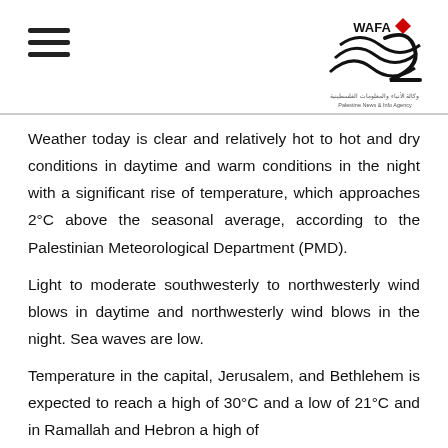WAFA logo and navigation
Weather today is clear and relatively hot to hot and dry conditions in daytime and warm conditions in the night with a significant rise of temperature, which approaches 2°C above the seasonal average, according to the Palestinian Meteorological Department (PMD).
Light to moderate southwesterly to northwesterly wind blows in daytime and northwesterly wind blows in the night. Sea waves are low.
Temperature in the capital, Jerusalem, and Bethlehem is expected to reach a high of 30°C and a low of 21°C and in Ramallah and Hebron a high of